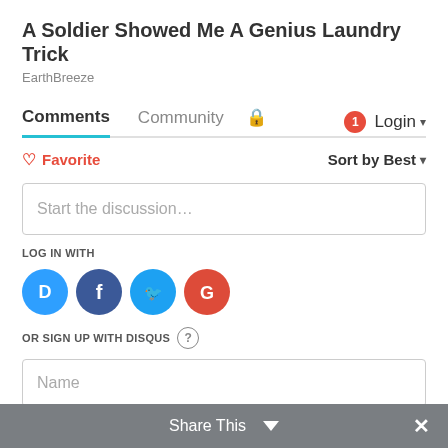A Soldier Showed Me A Genius Laundry Trick
EarthBreeze
Comments   Community   🔒   1   Login ▾
♡ Favorite   Sort by Best ▾
Start the discussion…
LOG IN WITH
[Figure (other): Social login icons: Disqus (blue circle with D), Facebook (dark blue circle with f), Twitter (light blue circle with bird), Google (red circle with G)]
OR SIGN UP WITH DISQUS ?
Name
Share This ∨  ✕